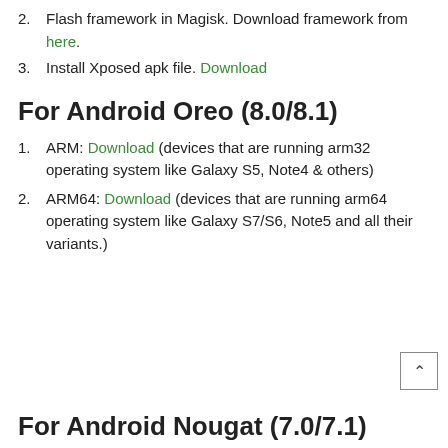2. Flash framework in Magisk. Download framework from here.
3. Install Xposed apk file. Download
For Android Oreo (8.0/8.1)
1. ARM: Download (devices that are running arm32 operating system like Galaxy S5, Note4 & others)
2. ARM64: Download (devices that are running arm64 operating system like Galaxy S7/S6, Note5 and all their variants.)
For Android Nougat (7.0/7.1)